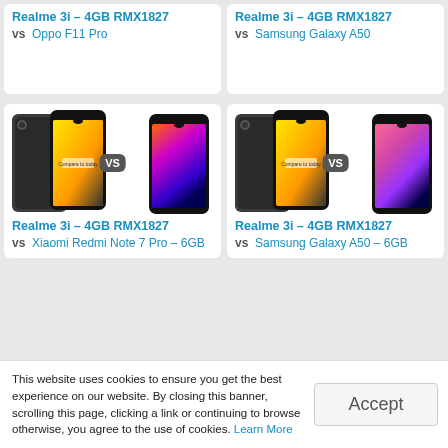[Figure (screenshot): Card: Realme 3i - 4GB RMX1827 vs Oppo F11 Pro - two smartphones facing each other with VS badge (top-left, partial view)]
[Figure (screenshot): Card: Realme 3i - 4GB RMX1827 vs Samsung Galaxy A50 - two smartphones facing each other with VS badge (top-right, partial view)]
Realme 3i – 4GB RMX1827
vs Oppo F11 Pro
Realme 3i – 4GB RMX1827
vs Samsung Galaxy A50
[Figure (screenshot): Card: Realme 3i - 4GB RMX1827 vs Xiaomi Redmi Note 7 Pro – 6GB - two smartphones with VS badge]
Realme 3i – 4GB RMX1827
vs Xiaomi Redmi Note 7 Pro – 6GB
[Figure (screenshot): Card: Realme 3i - 4GB RMX1827 vs Samsung Galaxy A50 – 6GB - two smartphones with VS badge]
Realme 3i – 4GB RMX1827
vs Samsung Galaxy A50 – 6GB
[Figure (screenshot): Card: Realme 3i vs Samsung Galaxy A30 - two smartphones with VS badge (bottom-left, partial)]
[Figure (screenshot): Card: Realme 3i vs Moto G7 Power - two smartphones with VS badge (bottom-right, partial)]
This website uses cookies to ensure you get the best experience on our website. By closing this banner, scrolling this page, clicking a link or continuing to browse otherwise, you agree to the use of cookies. Learn More